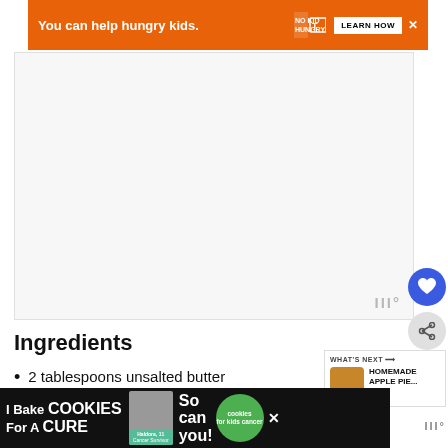[Figure (other): Orange advertisement banner: 'You can help hungry kids.' No Kid Hungry logo and LEARN HOW button]
[Figure (other): Large white/light gray content placeholder area with weather brand watermark (III°) in bottom right corner]
Ingredients
2 tablespoons unsalted butter
2 garlic cloves (minced)
[Figure (other): Bottom advertisement banner on dark background: 'I Bake COOKIES For A CURE' with Haldora, 11 Cancer Survivor, 'So can you!' text and green cookies for kids cancer circle logo]